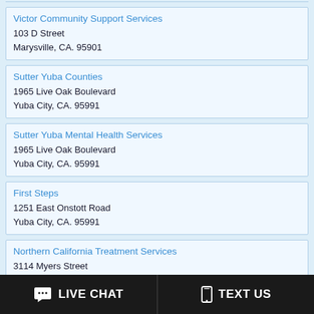Victor Community Support Services
103 D Street
Marysville, CA. 95901
Sutter Yuba Counties
1965 Live Oak Boulevard
Yuba City, CA. 95991
Sutter Yuba Mental Health Services
1965 Live Oak Boulevard
Yuba City, CA. 95991
First Steps
1251 East Onstott Road
Yuba City, CA. 95991
Northern California Treatment Services
3114 Myers Street
Oroville, CA. 95966
Butte County Dept of Behavioral Health
18 County Center Drive
Oroville, CA. 95965
LIVE CHAT   TEXT US